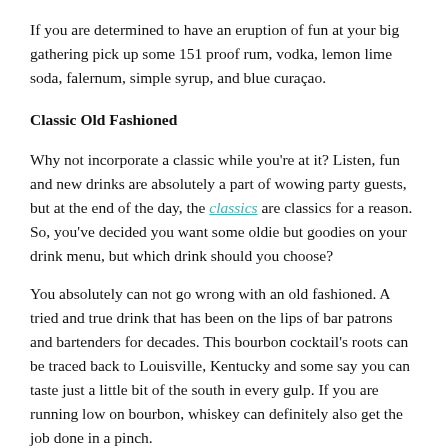If you are determined to have an eruption of fun at your big gathering pick up some 151 proof rum, vodka, lemon lime soda, falernum, simple syrup, and blue curaçao.
Classic Old Fashioned
Why not incorporate a classic while you're at it? Listen, fun and new drinks are absolutely a part of wowing party guests, but at the end of the day, the classics are classics for a reason. So, you've decided you want some oldie but goodies on your drink menu, but which drink should you choose?
You absolutely can not go wrong with an old fashioned. A tried and true drink that has been on the lips of bar patrons and bartenders for decades. This bourbon cocktail's roots can be traced back to Louisville, Kentucky and some say you can taste just a little bit of the south in every gulp. If you are running low on bourbon, whiskey can definitely also get the job done in a pinch.